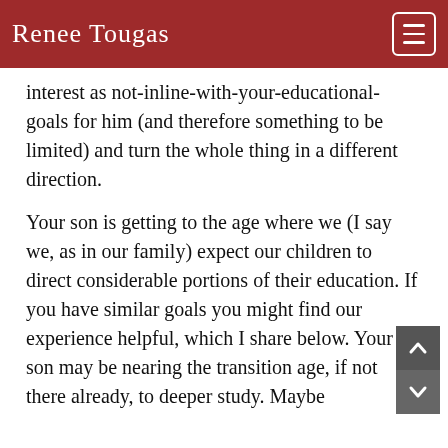Renee Tougas
interest as not-inline-with-your-educational-goals for him (and therefore something to be limited) and turn the whole thing in a different direction.
Your son is getting to the age where we (I say we, as in our family) expect our children to direct considerable portions of their education. If you have similar goals you might find our experience helpful, which I share below. Your son may be nearing the transition age, if not there already, to deeper study. Maybe